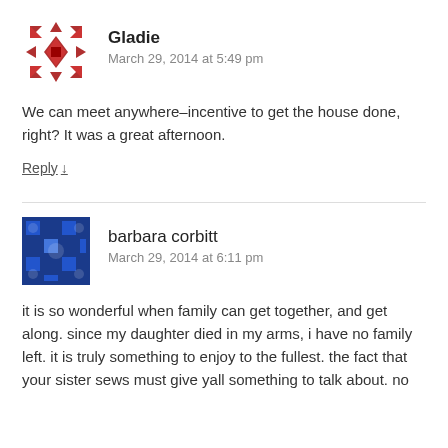[Figure (illustration): Red decorative quilt-pattern avatar icon for user Gladie]
Gladie
March 29, 2014 at 5:49 pm
We can meet anywhere–incentive to get the house done, right? It was a great afternoon.
Reply ↓
[Figure (illustration): Blue decorative quilt-pattern avatar icon for user barbara corbitt]
barbara corbitt
March 29, 2014 at 6:11 pm
it is so wonderful when family can get together, and get along. since my daughter died in my arms, i have no family left. it is truly something to enjoy to the fullest. the fact that your sister sews must give yall something to talk about. no